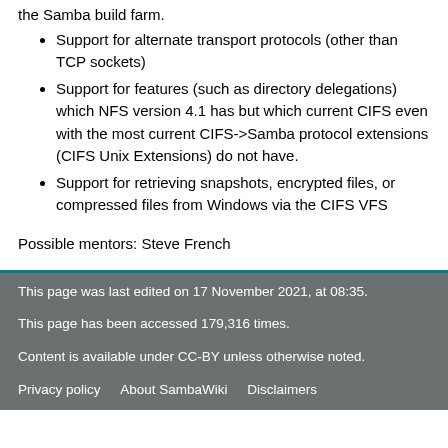Support for alternate transport protocols (other than TCP sockets)
Support for features (such as directory delegations) which NFS version 4.1 has but which current CIFS even with the most current CIFS->Samba protocol extensions (CIFS Unix Extensions) do not have.
Support for retrieving snapshots, encrypted files, or compressed files from Windows via the CIFS VFS
Possible mentors: Steve French
This page was last edited on 17 November 2021, at 08:35.
This page has been accessed 179,316 times.
Content is available under CC-BY unless otherwise noted.
Privacy policy   About SambaWiki   Disclaimers